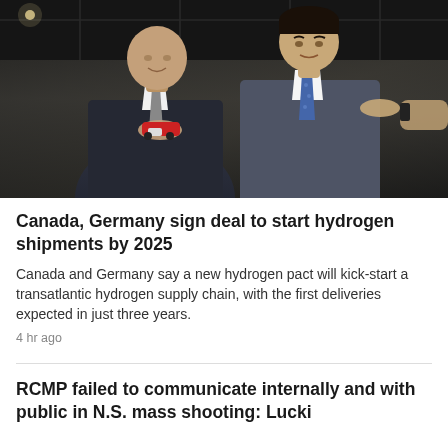[Figure (photo): Two men in suits examining a small red toy or model object. One is an older bald man in a dark suit, the other is a younger dark-haired man in a grey suit with a blue tie. Dark industrial background.]
Canada, Germany sign deal to start hydrogen shipments by 2025
Canada and Germany say a new hydrogen pact will kick-start a transatlantic hydrogen supply chain, with the first deliveries expected in just three years.
4 hr ago
RCMP failed to communicate internally and with public in N.S. mass shooting: Lucki